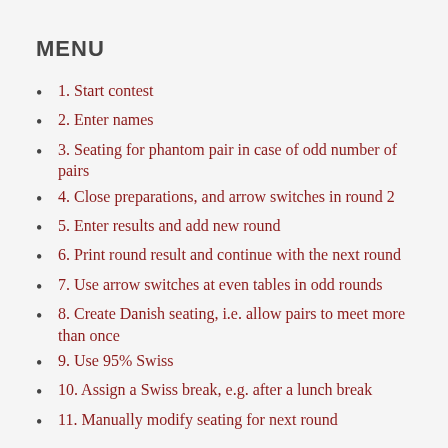MENU
1. Start contest
2. Enter names
3. Seating for phantom pair in case of odd number of pairs
4. Close preparations, and arrow switches in round 2
5. Enter results and add new round
6. Print round result and continue with the next round
7. Use arrow switches at even tables in odd rounds
8. Create Danish seating, i.e. allow pairs to meet more than once
9. Use 95% Swiss
10. Assign a Swiss break, e.g. after a lunch break
11. Manually modify seating for next round